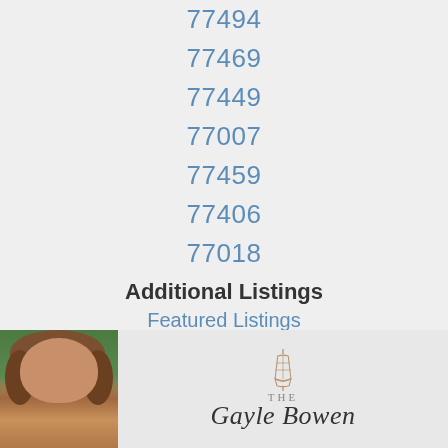77494
77469
77449
77007
77459
77406
77018
Additional Listings
Featured Listings
[Figure (photo): Headshot of a woman with brown hair against a green leafy background, next to 'The Gayle Bowen' real estate brand logo with a lantern icon]